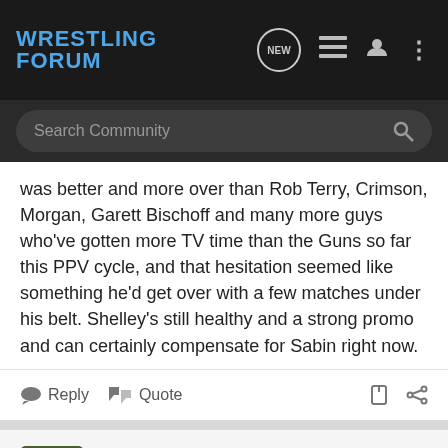[Figure (screenshot): Wrestling Forum website logo and navigation bar with search field]
was better and more over than Rob Terry, Crimson, Morgan, Garett Bischoff and many more guys who've gotten more TV time than the Guns so far this PPV cycle, and that hesitation seemed like something he'd get over with a few matches under his belt. Shelley's still healthy and a strong promo and can certainly compensate for Sabin right now.
Reply  Quote
THERUCKUS · Registered
Joined Feb 10, 2012 · 399 Posts
#9 · May 2, 2012 (Edited)